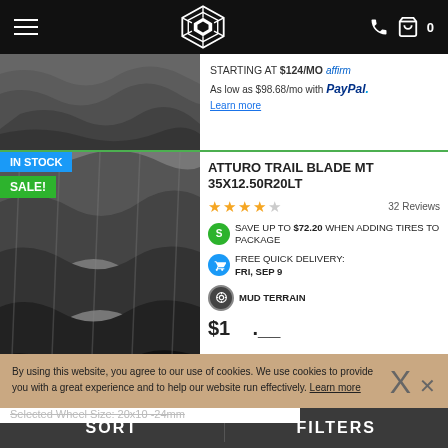Navigation header with hamburger menu, logo, phone icon and cart (0)
STARTING AT $124/MO affirm
As low as $98.68/mo with PayPal. Learn more
ATTURO TRAIL BLADE MT 35X12.50R20LT
★★★★☆ 32 Reviews
SAVE UP TO $72.20 WHEN ADDING TIRES TO PACKAGE
FREE QUICK DELIVERY: FRI, SEP 9
MUD TERRAIN
$1__.__
Selected Wheel Size: 20x10 -24mm
By using this website, you agree to our use of cookies. We use cookies to provide you with a great experience and to help our website run effectively. Learn more
SORT | FILTERS